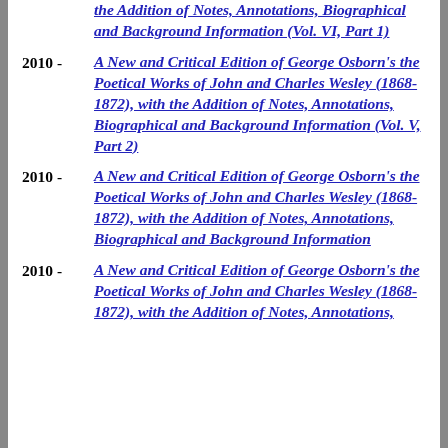the Addition of Notes, Annotations, Biographical and Background Information (Vol. VI, Part 1)
2010 - A New and Critical Edition of George Osborn’s the Poetical Works of John and Charles Wesley (1868-1872), with the Addition of Notes, Annotations, Biographical and Background Information (Vol. V, Part 2)
2010 - A New and Critical Edition of George Osborn’s the Poetical Works of John and Charles Wesley (1868-1872), with the Addition of Notes, Annotations, Biographical and Background Information
2010 - A New and Critical Edition of George Osborn’s the Poetical Works of John and Charles Wesley (1868-1872), with the Addition of Notes, Annotations,